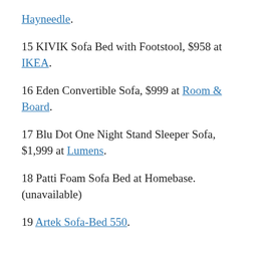Hayneedle.
15 KIVIK Sofa Bed with Footstool, $958 at IKEA.
16 Eden Convertible Sofa, $999 at Room & Board.
17 Blu Dot One Night Stand Sleeper Sofa, $1,999 at Lumens.
18 Patti Foam Sofa Bed at Homebase. (unavailable)
19 Artek Sofa-Bed 550.